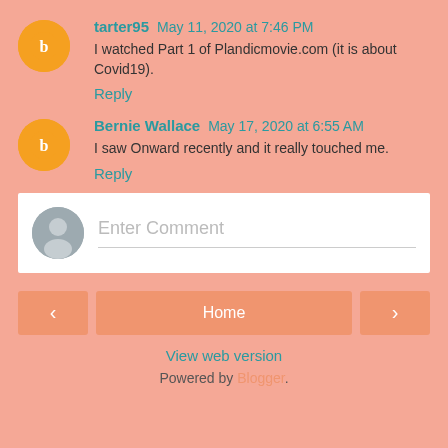tarter95 May 11, 2020 at 7:46 PM
I watched Part 1 of Plandicmovie.com (it is about Covid19).
Reply
Bernie Wallace May 17, 2020 at 6:55 AM
I saw Onward recently and it really touched me.
Reply
Enter Comment
Home
View web version
Powered by Blogger.